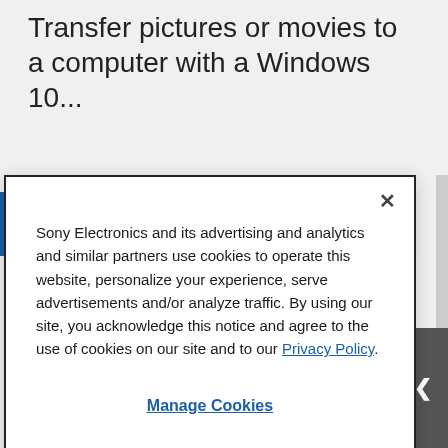Transfer pictures or movies to a computer with a Windows 10...
Parts & Accessories
Product information and sales assistance
Sony Electronics and its advertising and analytics and similar partners use cookies to operate this website, personalize your experience, serve advertisements and/or analyze traffic. By using our site, you acknowledge this notice and agree to the use of cookies on our site and to our Privacy Policy.
Manage Cookies